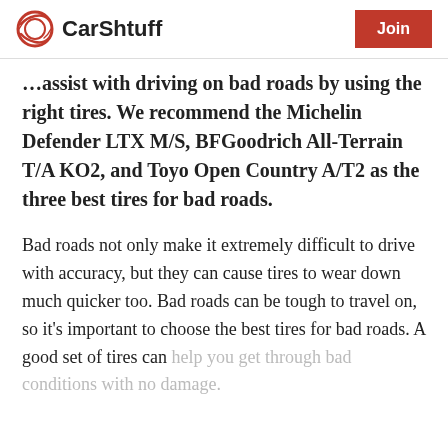CarShtuff | Join
...assist with driving on bad roads by using the right tires. We recommend the Michelin Defender LTX M/S, BFGoodrich All-Terrain T/A KO2, and Toyo Open Country A/T2 as the three best tires for bad roads.
Bad roads not only make it extremely difficult to drive with accuracy, but they can cause tires to wear down much quicker too. Bad roads can be tough to travel on, so it's important to choose the best tires for bad roads. A good set of tires can help you get through bad conditions with no damage.